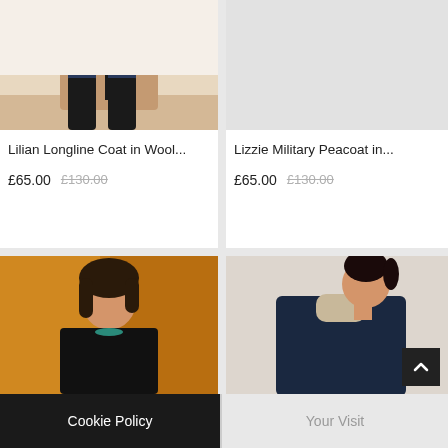[Figure (photo): Lower half of model wearing a longline camel/tan wool coat with black jeans and black knee-high boots, standing on herringbone wood floor]
Lilian Longline Coat in Wool...
£65.00  £130.00
[Figure (photo): Light grey placeholder image for Lizzie Military Peacoat]
Lizzie Military Peacoat in...
£65.00  £130.00
[Figure (photo): Model with dark hair and teal necklace wearing a dark blazer, standing in front of mustard yellow curtain]
[Figure (photo): Model with dark hair in ponytail wearing navy coat, viewed from side looking downward]
Cookie Policy
Your Visit